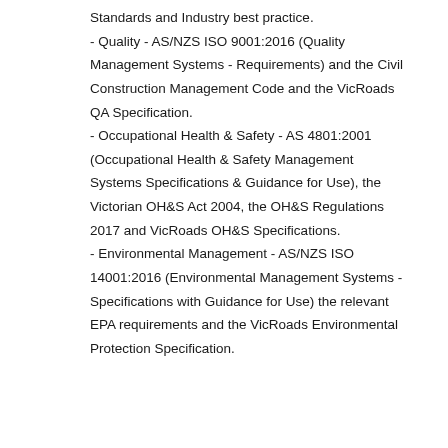Standards and Industry best practice.
- Quality - AS/NZS ISO 9001:2016 (Quality Management Systems - Requirements) and the Civil Construction Management Code and the VicRoads QA Specification.
- Occupational Health & Safety - AS 4801:2001 (Occupational Health & Safety Management Systems Specifications & Guidance for Use), the Victorian OH&S Act 2004, the OH&S Regulations 2017 and VicRoads OH&S Specifications.
- Environmental Management - AS/NZS ISO 14001:2016 (Environmental Management Systems - Specifications with Guidance for Use) the relevant EPA requirements and the VicRoads Environmental Protection Specification.